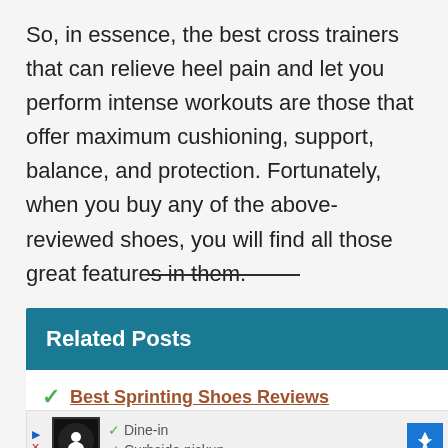So, in essence, the best cross trainers that can relieve heel pain and let you perform intense workouts are those that offer maximum cushioning, support, balance, and protection. Fortunately, when you buy any of the above-reviewed shoes, you will find all those great features in them.
Related Posts
Best Sprinting Shoes Reviews